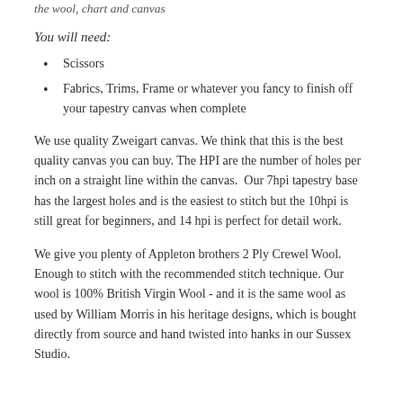the wool, chart and canvas
You will need:
Scissors
Fabrics, Trims, Frame or whatever you fancy to finish off your tapestry canvas when complete
We use quality Zweigart canvas. We think that this is the best quality canvas you can buy. The HPI are the number of holes per inch on a straight line within the canvas.  Our 7hpi tapestry base has the largest holes and is the easiest to stitch but the 10hpi is still great for beginners, and 14 hpi is perfect for detail work.
We give you plenty of Appleton brothers 2 Ply Crewel Wool. Enough to stitch with the recommended stitch technique. Our wool is 100% British Virgin Wool - and it is the same wool as used by William Morris in his heritage designs, which is bought directly from source and hand twisted into hanks in our Sussex Studio.